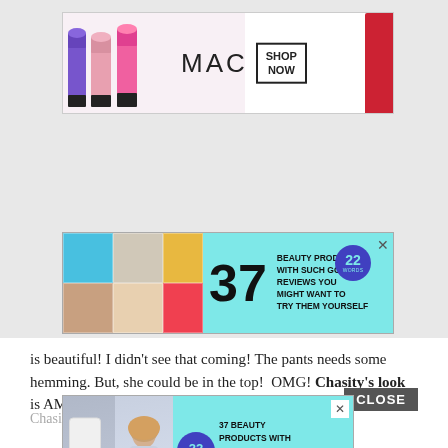[Figure (photo): MAC cosmetics advertisement showing lipsticks in purple, pink and red colors with MAC logo and SHOP NOW button]
[Figure (photo): Beauty product advertisement: 37 beauty products with such good reviews you might want to try them yourself. Shows beauty product images with teal background and 22 words badge.]
is beautiful! I didn't see that coming! The pants needs some hemming. But, she could be in the top!  OMG! Chasity's look is AMAZING! How is it that these looks all turned out.
[Figure (photo): Popup advertisement overlay: 37 Beauty Products With Such Good Reviews You Might Want To Try Them Yourself. Shows woman and glo product with teal background.]